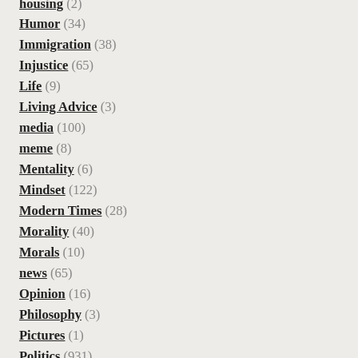housing (2)
Humor (34)
Immigration (38)
Injustice (65)
Life (9)
Living Advice (3)
media (100)
meme (8)
Mentality (6)
Mindset (122)
Modern Times (28)
Morality (40)
Morals (10)
news (65)
Opinion (16)
Philosophy (3)
Pictures (1)
Politics (931)
Quickypinion (15)
Rant (21)
Reblog (1)
Satire (?)